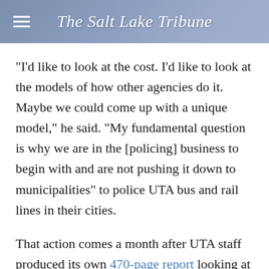The Salt Lake Tribune
"I'd like to look at the cost. I'd like to look at the models of how other agencies do it. Maybe we could come up with a unique model," he said. "My fundamental question is why we are in the [policing] business to begin with and are not pushing it down to municipalities" to police UTA bus and rail lines in their cities.
That action comes a month after UTA staff produced its own 470-page report looking at how other transit agencies handle policing. It concluded that abolishing the 11-year-old UTA Police would cost more than it would